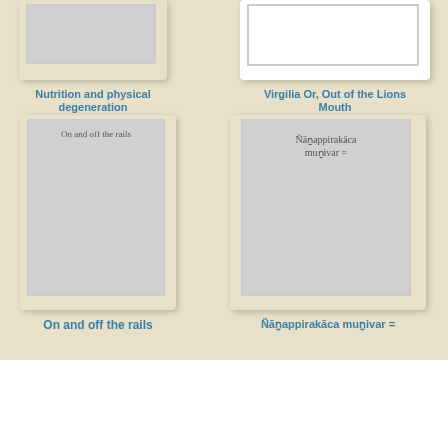[Figure (illustration): Book cover thumbnail for 'Nutrition and physical degeneration', partially visible at top, grey cover]
Nutrition and physical degeneration
[Figure (illustration): Book cover thumbnail for 'Virgilia Or, Out of the Lions Mouth', partially visible at top, white cover]
Virgilia Or, Out of the Lions Mouth
[Figure (illustration): Book cover thumbnail for 'On and off the rails', grey cover with text inside]
On and off the rails
[Figure (illustration): Book cover thumbnail for 'Nāṉappirakāca muṉivar =', grey cover with text inside]
Nāṉappirakāca muṉivar =
The design, development, and evaluation of